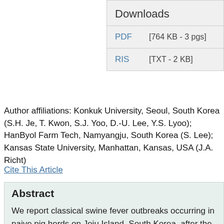Downloads
PDF  [764 KB - 3 pgs]
RIS  [TXT - 2 KB]
Author affiliations: Konkuk University, Seoul, South Korea (S.H. Je, T. Kwon, S.J. Yoo, D.-U. Lee, Y.S. Lyoo); HanByol Farm Tech, Namyangju, South Korea (S. Lee); Kansas State University, Manhattan, Kansas, USA (J.A. Richt)
Cite This Article
Abstract
We report classical swine fever outbreaks occurring in naive pig herds on Jeju Island, South Korea, after the introduction of the LOM vaccine strain. Two isolates from sick pigs had >99%